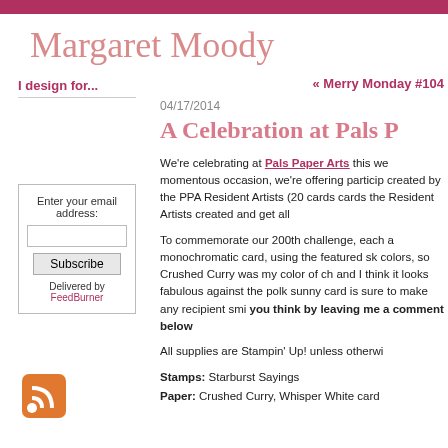Margaret Moody
I design for...
« Merry Monday #104
04/17/2014
A Celebration at Pals P
Enter your email address:
Subscribe
Delivered by FeedBurner
We're celebrating at Pals Paper Arts this we momentous occasion, we're offering particip created by the PPA Resident Artists (20 cards cards the Resident Artists created and get all
To commemorate our 200th challenge, each a monochromatic card, using the featured sk colors, so Crushed Curry was my color of ch and I think it looks fabulous against the polk sunny card is sure to make any recipient smi you think by leaving me a comment below
All supplies are Stampin' Up! unless otherwi
Stamps: Starburst Sayings
Paper: Crushed Curry, Whisper White card